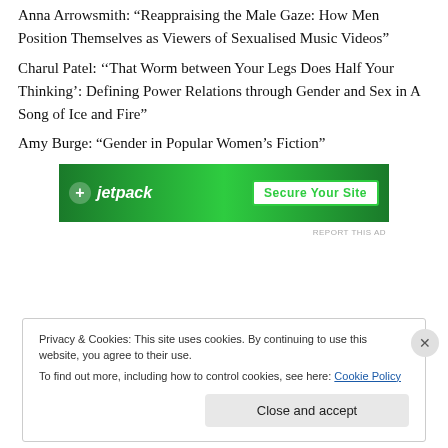Anna Arrowsmith: “Reappraising the Male Gaze: How Men Position Themselves as Viewers of Sexualised Music Videos”
Charul Patel: ‘‘That Worm between Your Legs Does Half Your Thinking’: Defining Power Relations through Gender and Sex in A Song of Ice and Fire”
Amy Burge: “Gender in Popular Women’s Fiction”
[Figure (other): Jetpack advertisement banner with green background showing Jetpack logo and 'Secure Your Site' button]
REPORT THIS AD
Privacy & Cookies: This site uses cookies. By continuing to use this website, you agree to their use.
To find out more, including how to control cookies, see here: Cookie Policy